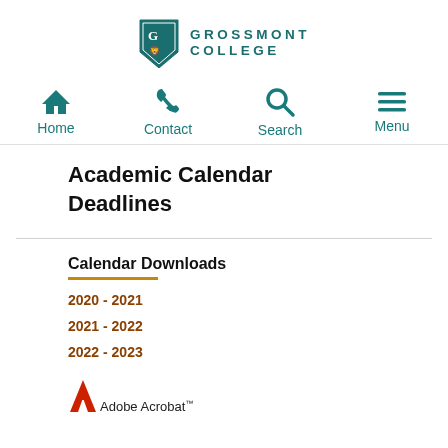[Figure (logo): Grossmont College shield logo and text logo]
[Figure (infographic): Navigation bar with Home, Contact, Search, Menu icons in teal]
Academic Calendar Deadlines
Calendar Downloads
2020 - 2021
2021 - 2022
2022 - 2023
[Figure (logo): Adobe Acrobat logo (partial, red A icon with text)]